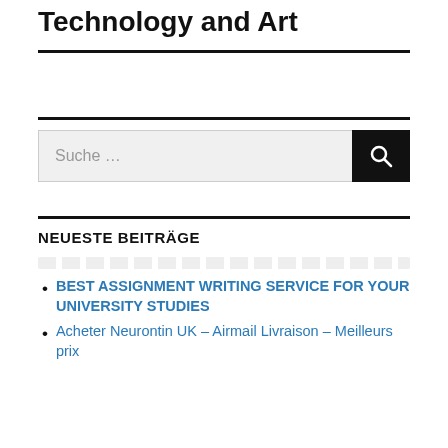Technology and Art
Suche ...
NEUESTE BEITRÄGE
BEST ASSIGNMENT WRITING SERVICE FOR YOUR UNIVERSITY STUDIES
Acheter Neurontin UK – Airmail Livraison – Meilleurs prix